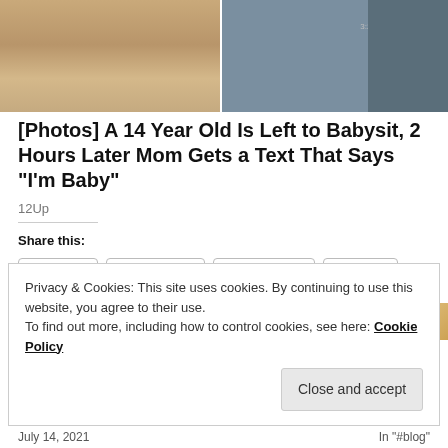[Figure (photo): Split photo: left side shows a young woman with long blonde hair, right side shows a screenshot of a text message conversation with text 'u can do something' visible, time stamp 3:25 PM]
[Photos] A 14 Year Old Is Left to Babysit, 2 Hours Later Mom Gets a Text That Says "I'm Baby"
12Up
Share this:
Twitter  Facebook  WhatsApp  Email
Like
106 bloggers like this.
Privacy & Cookies: This site uses cookies. By continuing to use this website, you agree to their use.
To find out more, including how to control cookies, see here: Cookie Policy
Close and accept
July 14, 2021    In "#blog"